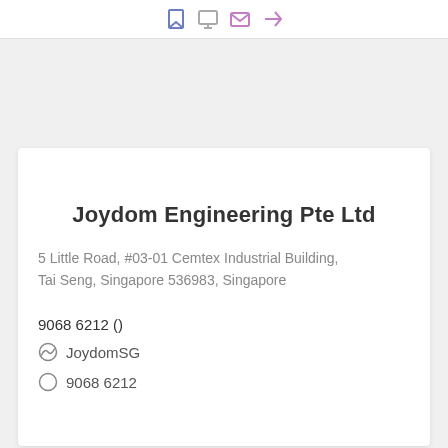[Figure (other): Top navigation bar with icons: bookmark, monitor, envelope, and arrow icons in blue/purple/grey colors]
Joydom Engineering Pte Ltd
5 Little Road, #03-01 Cemtex Industrial Building, Tai Seng, Singapore 536983, Singapore
9068 6212 ()
JoydomSG
9068 6212